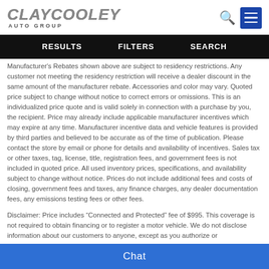[Figure (logo): Clay Cooley Auto Group logo with metallic silver italic text and 'AUTO GROUP' subtitle]
RESULTS   FILTERS   SEARCH
Manufacturer's Rebates shown above are subject to residency restrictions. Any customer not meeting the residency restriction will receive a dealer discount in the same amount of the manufacturer rebate. Accessories and color may vary. Quoted price subject to change without notice to correct errors or omissions. This is an individualized price quote and is valid solely in connection with a purchase by you, the recipient. Price may already include applicable manufacturer incentives which may expire at any time. Manufacturer incentive data and vehicle features is provided by third parties and believed to be accurate as of the time of publication. Please contact the store by email or phone for details and availability of incentives. Sales tax or other taxes, tag, license, title, registration fees, and government fees is not included in quoted price. All used inventory prices, specifications, and availability subject to change without notice. Prices do not include additional fees and costs of closing, government fees and taxes, any finance charges, any dealer documentation fees, any emissions testing fees or other fees.
Disclaimer: Price includes “Connected and Protected” fee of $995. This coverage is not required to obtain financing or to register a motor vehicle. We do not disclose information about our customers to anyone, except as you authorize or
Chat